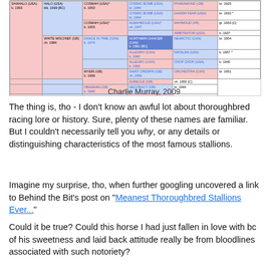[Figure (other): Thoroughbred pedigree chart showing lineage of SHAHALO (USA) b. 1993, with ancestors including HALO (USA), WHITE MISCHIEF (GB), COSMAH (USA), DANCE IN TIME (CAN), MYERI (GB), and further ancestors with pink and blue colored cells.]
Charlie Murray, 2009
The thing is, tho - I don't know an awful lot about thoroughbred racing lore or history. Sure, plenty of these names are familiar. But I couldn't necessarily tell you why, or any details or distinguishing characteristics of the most famous stallions.
Imagine my surprise, tho, when further googling uncovered a link to Behind the Bit's post on "Meanest Thoroughbred Stallions Ever..."
Could it be true? Could this horse I had just fallen in love with bc of his sweetness and laid back attitude really be from bloodlines associated with such notoriety?